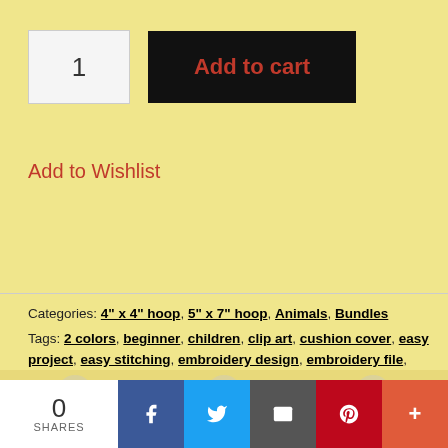1
Add to cart
Add to Wishlist
Ask a Question
Categories: 4" x 4" hoop, 5" x 7" hoop, Animals, Bundles
Tags: 2 colors, beginner, children, clip art, cushion cover, easy project, easy stitching, embroidery design, embroidery file, Embroidery Shelter, for her, for him, for kids, kitchen towel, two colors, Yin Yang
0 SHARES